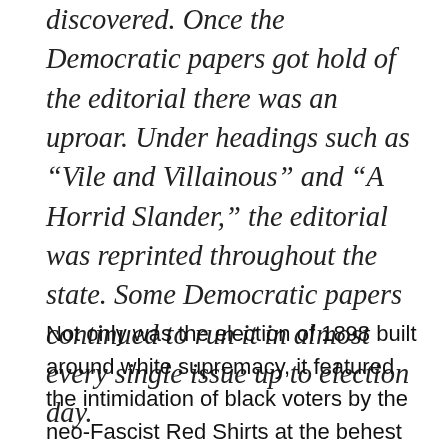discovered. Once the Democratic papers got hold of the editorial there was an uproar. Under headings such as “Vile and Villainous” and “A Horrid Slander,” the editorial was reprinted throughout the state. Some Democratic papers continued to run it in almost every single issue up to election day.
Not only was the election of 1898 built around white supremacy, it featured the intimidation of black voters by the neo-Fascist Red Shirts at the behest of Simmons